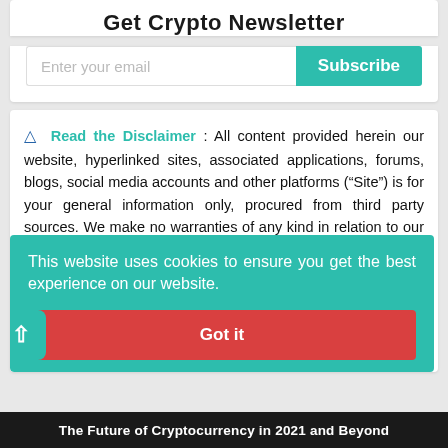Get Crypto Newsletter
Enter your email
Subscribe
Read the Disclaimer : All content provided herein our website, hyperlinked sites, associated applications, forums, blogs, social media accounts and other platforms (“Site”) is for your general information only, procured from third party sources. We make no warranties of any kind in relation to our content, including but not limited to accuracy and updatedness. No part of the content that we provide constitutes financial advice, legal advice or any other form of advice meant for your specific reliance for any purpose. Any use or reliance on our content is solely at your own risk and discretion. You should conduct your own research, [...]ving on them. [...]najor losses, [...]efore making [...]be a solicitation
This website uses cookies to ensure you get the best experience on our website.
Got it
The Future of Cryptocurrency in 2021 and Beyond